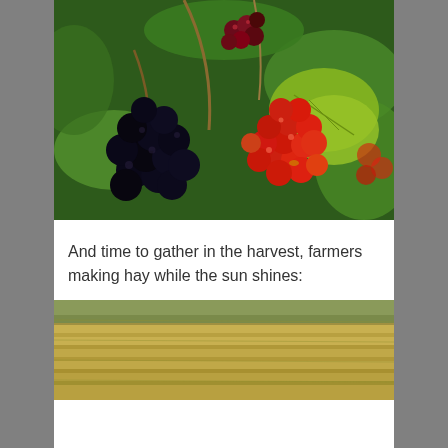[Figure (photo): Close-up photograph of berry clusters on a vine. Left cluster shows dark purple/black ripe berries, right cluster shows bright red unripe berries, with a small cluster of dark red berries at top center. Green leaves visible in background.]
And time to gather in the harvest, farmers making hay while the sun shines:
[Figure (photo): Photograph of a harvested farm field with rows of cut hay or grain laid out across the ground, showing golden-brown colors with some green near the top.]